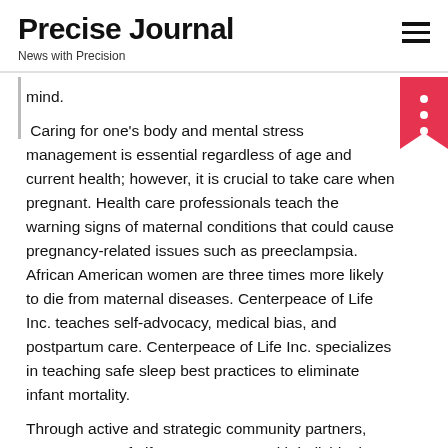Precise Journal
News with Precision
mind.
Caring for one's body and mental stress management is essential regardless of age and current health; however, it is crucial to take care when pregnant. Health care professionals teach the warning signs of maternal conditions that could cause pregnancy-related issues such as preeclampsia. African American women are three times more likely to die from maternal diseases. Centerpeace of Life Inc. teaches self-advocacy, medical bias, and postpartum care. Centerpeace of Life Inc. specializes in teaching safe sleep best practices to eliminate infant mortality.
Through active and strategic community partners, Centerpeace of Life, Inc. connects with individuals to provide workshops, health checks, and screenings free of charge. By collaborating with professional health care volunteers and medical suppliers, individuals and families can receive clinical testing for diabetes, blood pressure...